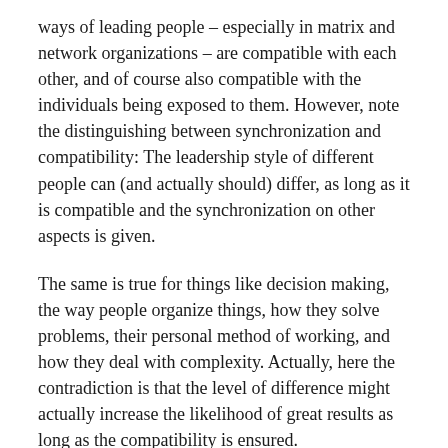ways of leading people – especially in matrix and network organizations – are compatible with each other, and of course also compatible with the individuals being exposed to them. However, note the distinguishing between synchronization and compatibility: The leadership style of different people can (and actually should) differ, as long as it is compatible and the synchronization on other aspects is given.
The same is true for things like decision making, the way people organize things, how they solve problems, their personal method of working, and how they deal with complexity. Actually, here the contradiction is that the level of difference might actually increase the likelihood of great results as long as the compatibility is ensured.
Of course, there is a nearly indefinite list of things